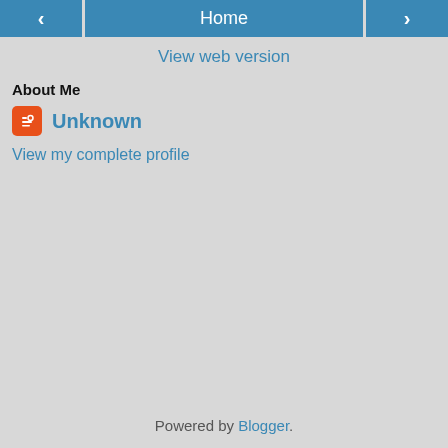[Figure (screenshot): Navigation bar with back arrow, Home button, and forward arrow, all in blue]
View web version
About Me
[Figure (logo): Blogger orange icon logo]
Unknown
View my complete profile
Powered by Blogger.